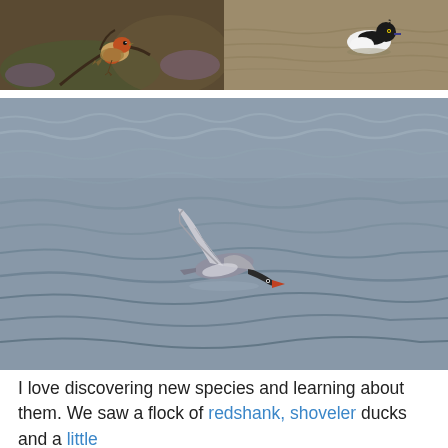[Figure (photo): Top-left: A robin (small bird with orange-red breast) perched on a twig with blurred purple heather in the background.]
[Figure (photo): Top-right: A duck with black and white plumage (tufted duck or similar) swimming on a rippled muddy-brown water surface.]
[Figure (photo): Large bottom photo: A bird (likely a red-necked phalarope or similar wader) skimming low over choppy grey-blue water with wings raised.]
I love discovering new species and learning about them. We saw a flock of redshank, shoveler ducks and a little